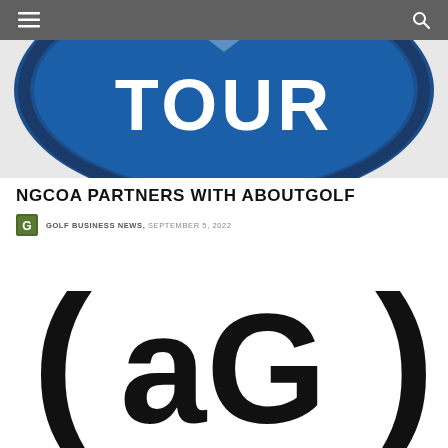Navigation bar with hamburger menu and search icon
[Figure (logo): Partial blue circular PGA TOUR logo showing 'TOUR' text in white on blue background]
NGCOA PARTNERS WITH ABOUTGOLF
GOLF BUSINESS NEWS, SEPTEMBER 5, 2022
[Figure (logo): aboutGolf logo showing '(aG)' in large black bold text on white background]